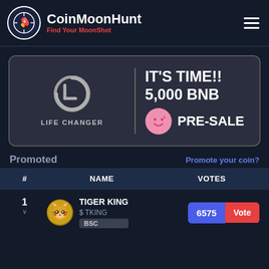[Figure (logo): CoinMoonHunt logo with rocket icon in circle, text 'CoinMoonHunt' and tagline 'Find Your MoonShot']
[Figure (infographic): Life Changer banner ad: logo on left with LC symbol and 'LIFE CHANGER' text, right side shows 'IT'S TIME!! 5,000 BNB' and a smiley face coin icon with 'PRE-SALE' text]
Promoted
Promote your coin?
| # | NAME | VOTES |
| --- | --- | --- |
| 1 | TIGER KING $ TKING BSC | 6575 Vote |